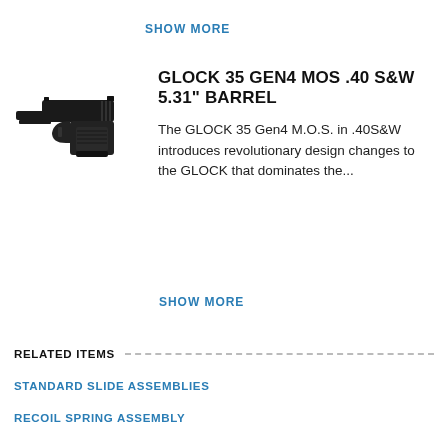SHOW MORE
[Figure (photo): Black Glock 35 Gen4 pistol facing left side view]
GLOCK 35 GEN4 MOS .40 S&W 5.31" BARREL
The GLOCK 35 Gen4 M.O.S. in .40S&W introduces revolutionary design changes to the GLOCK that dominates the...
SHOW MORE
RELATED ITEMS
STANDARD SLIDE ASSEMBLIES
RECOIL SPRING ASSEMBLY